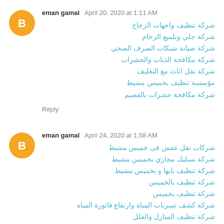[Figure (illustration): Orange circular blogger avatar icon with white B letter]
eman gamal  April 20, 2020 at 1:11 AM
شركة تنظيف واجهات الزجاج
شركة جلي وتلميع الرخام
شركة صيانة شبكات الصرف الصحي
شركة مكافحة الذباب والحشرات
شركة نقل اثاث مع التغليف
مؤسسة تنظيف بخميس مشيط
شركة مكافحة حشرات بالقصيم
Reply
[Figure (illustration): Orange circular blogger avatar icon with white B letter]
eman gamal  April 24, 2020 at 1:58 AM
شركات نقل عفش فى خميس مشيط
شركة تسليك مجاري بخميس مشيط
شركة تنظيف بابها و بخميس مشيط
شركة تنظيف بالخميس
شركة تنظيف بخميس
شركة كشف تسربات المياة وارتفاع فاتورة المياه
شركة تنظيف المنازل والفلل
Reply